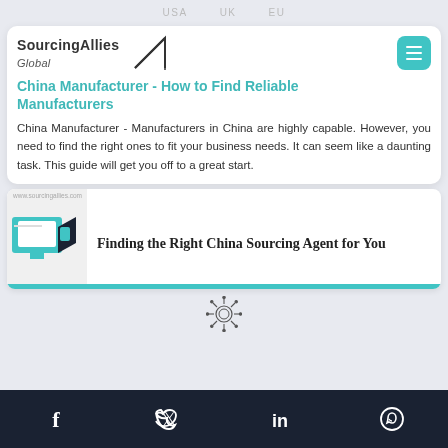USA   UK   EU
China Manufacturer - How to Find Reliable Manufacturers
China Manufacturer - Manufacturers in China are highly capable. However, you need to find the right ones to fit your business needs. It can seem like a daunting task. This guide will get you off to a great start.
[Figure (screenshot): Sourcing Allies website screenshot showing 'Finding the Right China Sourcing Agent for You' article preview with teal graphic elements and www.sourcingallies.com URL]
[Figure (illustration): Virus/coronavirus decorative icon separator]
Facebook  Twitter  LinkedIn  WhatsApp social media icons